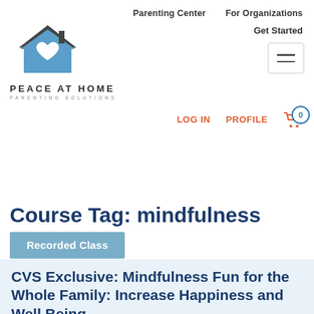Parenting Center   For Organizations   Get Started
[Figure (logo): Peace at Home Parenting Solutions logo: house icon with heart, blue and gray colors, text PEACE AT HOME PARENTING SOLUTIONS]
Course Tag: mindfulness
Recorded Class
CVS Exclusive: Mindfulness Fun for the Whole Family: Increase Happiness and Well Being